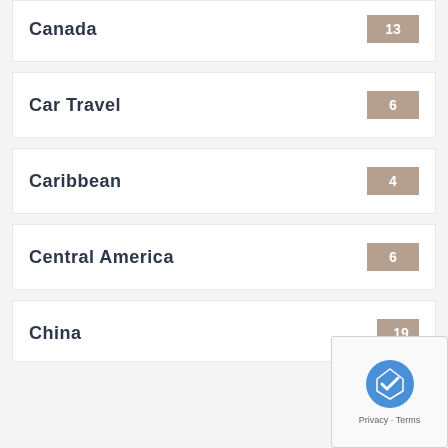Canada 13
Car Travel 6
Caribbean 4
Central America 6
China 19